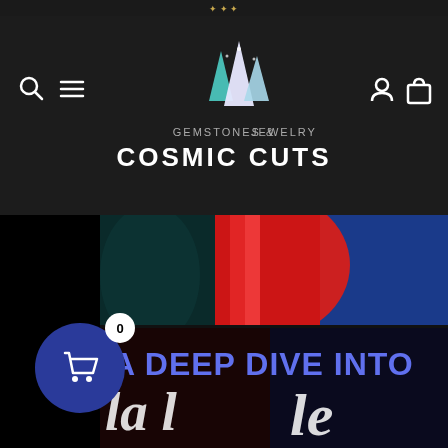Cosmic Cuts — Gemstones & Jewelry
[Figure (photo): Hero image with colorful draped fabric in red, blue, teal. Dark lower half with large blue text 'A DEEP DIVE INTO' and white script lettering below. A shopping cart bubble with count 0 overlays the lower-left.]